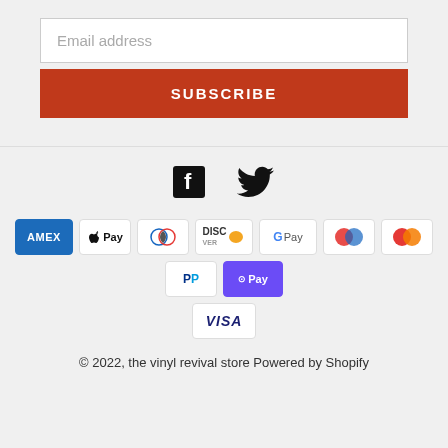Email address
SUBSCRIBE
[Figure (illustration): Social media icons: Facebook (f) and Twitter (bird)]
[Figure (illustration): Payment method badges: American Express, Apple Pay, Diners Club, Discover, Google Pay, Mastercard (two variants), PayPal, OPay, Visa]
© 2022, the vinyl revival store Powered by Shopify